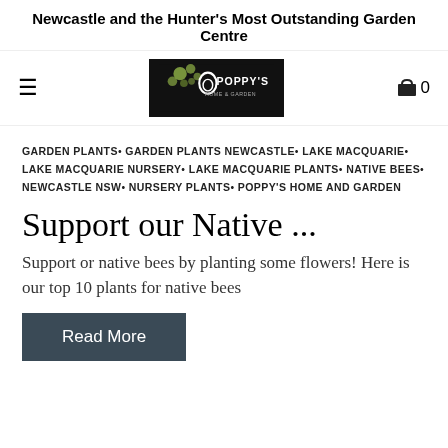Newcastle and the Hunter's Most Outstanding Garden Centre
[Figure (logo): Poppy's Home & Garden logo - black background with stylized plant/bubble graphic and white text reading POPPY'S HOME & GARDEN]
GARDEN PLANTS• GARDEN PLANTS NEWCASTLE• LAKE MACQUARIE• LAKE MACQUARIE NURSERY• LAKE MACQUARIE PLANTS• NATIVE BEES• NEWCASTLE NSW• NURSERY PLANTS• POPPY'S HOME AND GARDEN
Support our Native ...
Support or native bees by planting some flowers! Here is our top 10 plants for native bees